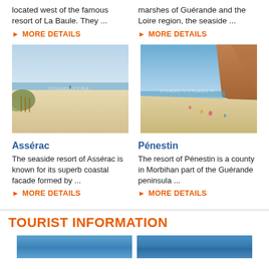located west of the famous resort of La Baule. They ...
marshes of Guérande and the Loire region, the seaside ...
MORE DETAILS
MORE DETAILS
[Figure (photo): Sandy beach at Assérac with dunes and calm water]
[Figure (photo): Clifftop sandy beach at Pénestin with people sunbathing]
Assérac
Pénestin
The seaside resort of Assérac is known for its superb coastal facade formed by ...
The resort of Pénestin is a county in Morbihan part of the Guérande peninsula ...
MORE DETAILS
MORE DETAILS
TOURIST INFORMATION